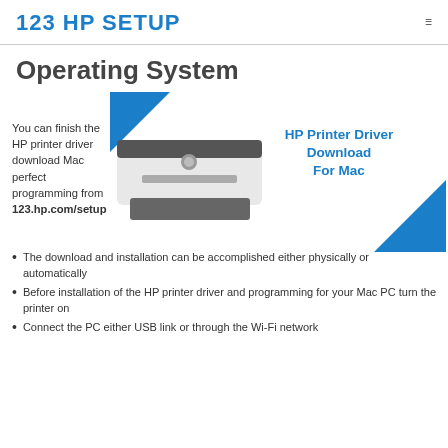123 HP SETUP
Operating System
You can finish the HP printer driver download Mac perfect programming from 123.hp.com/setup
[Figure (photo): HP laser printer with blue decorative triangles and text 'HP Printer Driver Download For Mac']
The download and installation can be accomplished either physically or automatically
Before installation of the HP printer driver and programming for your Mac PC turn the printer on
Connect the PC either USB link or through the Wi-Fi network